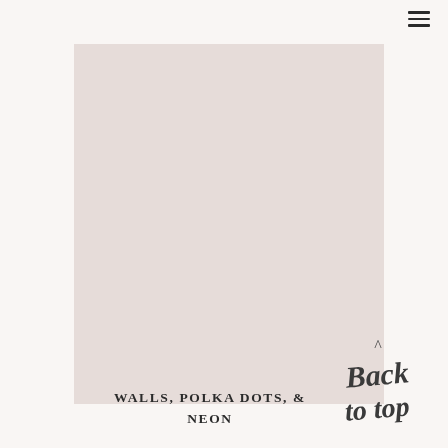≡
[Figure (illustration): Large pinkish-beige rectangular image placeholder filling most of the page]
WALLS, POLKA DOTS, & NEON
[Figure (illustration): Handwritten cursive script reading 'Back to top' with a caret/arrow above it]